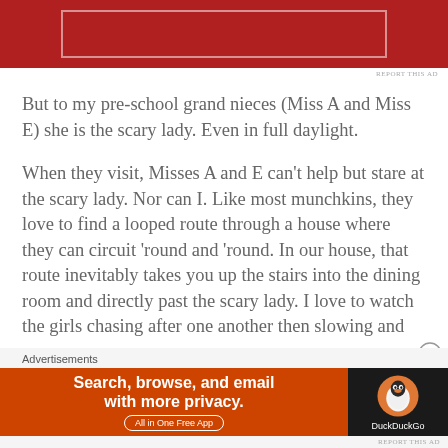[Figure (other): Red advertisement banner at top of page with white bordered rectangle inner frame]
REPORT THIS AD
But to my pre-school grand nieces (Miss A and Miss E) she is the scary lady. Even in full daylight.
When they visit, Misses A and E can't help but stare at the scary lady. Nor can I. Like most munchkins, they love to find a looped route through a house where they can circuit 'round and 'round. In our house, that route inevitably takes you up the stairs into the dining room and directly past the scary lady. I love to watch the girls chasing after one another then slowing and
Advertisements
[Figure (other): DuckDuckGo advertisement banner: orange/red background on left with text 'Search, browse, and email with more privacy. All in One Free App' and DuckDuckGo logo on dark right panel]
REPORT THIS AD